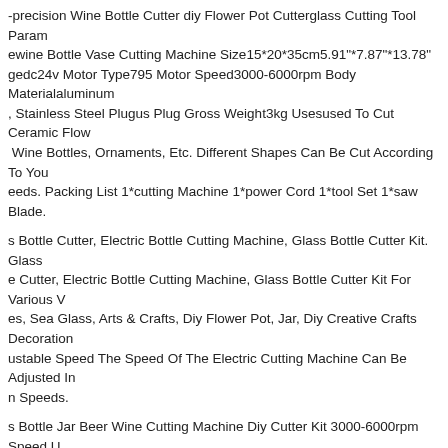-precision Wine Bottle Cutter diy Flower Pot Cutterglass Cutting Tool Parameter Namewine Bottle Vase Cutting Machine Size15*20*35cm5.91"*7.87"*13.78" Voltagedc24v Motor Type795 Motor Speed3000-6000rpm Body Materialaluminum, Stainless Steel Plugus Plug Gross Weight3kg Usesused To Cut Ceramic Flow Wine Bottles, Ornaments, Etc. Different Shapes Can Be Cut According To Your Needs. Packing List 1*cutting Machine 1*power Cord 1*tool Set 1*saw Blade.
s Bottle Cutter, Electric Bottle Cutting Machine, Glass Bottle Cutter Kit. Glass e Cutter, Electric Bottle Cutting Machine, Glass Bottle Cutter Kit For Various V es, Sea Glass, Arts & Crafts, Diy Flower Pot, Jar, Diy Creative Crafts Decoration ustable Speed The Speed Of The Electric Cutting Machine Can Be Adjusted In n Speeds.
s Bottle Jar Beer Wine Cutting Machine Diy Cutter Kit 3000-6000rpm Speed U -precision Wine Bottle Cutter diy Flower Pot Cutterglass Cutting Tool. High- sion Saw Blade With Sharp Teeth, Simple Operation And Fast Cutting Speed. ng Machine. 1 Saw Blade. Plugus Plug.
s Bottle Cutter Flower Pot Diy Cutting Machine Glassware Cutting Tools Dc24 eramic Wine Cutter bottle Cutterflower Pot Cutting Machineglass Lamp Bott ng Tool Parameter Namewine Bottle Vase Cutting Machine 5*20*35cm5.91"*7.87"*13.78" Voltagedc24v Motor Type795 Motor Speed300 r Body Materialaluminum Alloy Stainless Steel Plugus Plug Gross Weight3